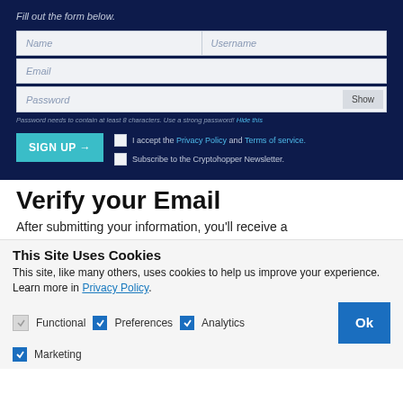[Figure (screenshot): Screenshot of a sign-up form on a dark navy background with fields for Name, Username, Email, Password, a Show button, a password hint, SIGN UP button, and checkboxes for Privacy Policy and Newsletter subscription.]
Verify your Email
After submitting your information, you'll receive a
This Site Uses Cookies
This site, like many others, uses cookies to help us improve your experience. Learn more in Privacy Policy.
Functional  Preferences  Analytics  Marketing
Ok